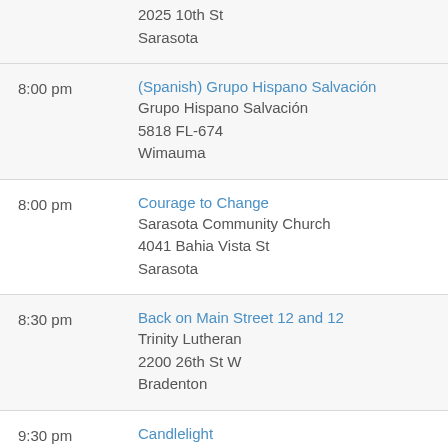2025 10th St
Sarasota
8:00 pm | (Spanish) Grupo Hispano Salvación
Grupo Hispano Salvación
5818 FL-674
Wimauma
8:00 pm | Courage to Change
Sarasota Community Church
4041 Bahia Vista St
Sarasota
8:30 pm | Back on Main Street 12 and 12
Trinity Lutheran
2200 26th St W
Bradenton
9:30 pm | Candlelight
Gratitude Club
530 Payne Pkwy
Sarasota